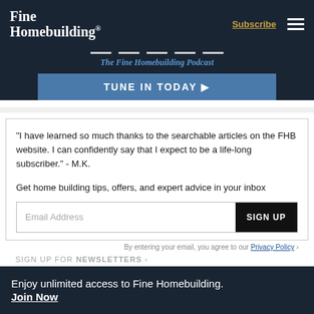Fine Homebuilding — Subscribe | Menu
[Figure (screenshot): The Fine Homebuilding Podcast banner with 'TUNE IN TODAY ▶' button]
"I have learned so much thanks to the searchable articles on the FHB website. I can confidently say that I expect to be a life-long subscriber." - M.K.
Get home building tips, offers, and expert advice in your inbox
Email Address  SIGN UP
Privacy Policy
Enjoy unlimited access to Fine Homebuilding. Join Now  SIGN UP FOR NEWSLETTERS ▶